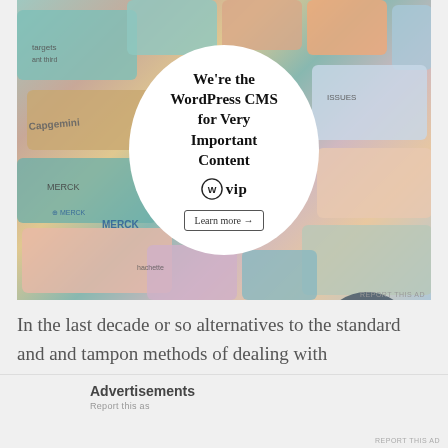[Figure (illustration): Advertisement for WordPress VIP showing a circular white badge with text 'We're the WordPress CMS for Very Important Content' with a WordPress VIP logo and 'Learn more' button, surrounded by a collage of colorful brand logos and cards including Capgemini, Merck, Hachette and others.]
In the last decade or so alternatives to the standard and and tampon methods of dealing with menstruation have become more mainstream (though they have definitely existed
Advertisements